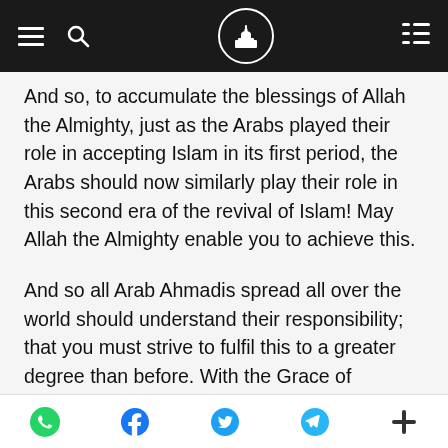Navigation bar with hamburger menu, search, mosque logo, and list icon
And so, to accumulate the blessings of Allah the Almighty, just as the Arabs played their role in accepting Islam in its first period, the Arabs should now similarly play their role in this second era of the revival of Islam! May Allah the Almighty enable you to achieve this.
And so all Arab Ahmadis spread all over the world should understand their responsibility; that you must strive to fulfil this to a greater degree than before. With the Grace of Almighty Allah there is no doubt, and I bear witness, that Arabs who have accepted
Share icons: WhatsApp, Facebook, Twitter, Telegram, More